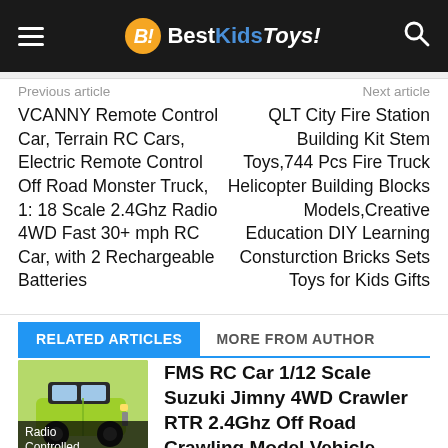BestKidsToys!
Previous article
Next article
VCANNY Remote Control Car, Terrain RC Cars, Electric Remote Control Off Road Monster Truck, 1: 18 Scale 2.4Ghz Radio 4WD Fast 30+ mph RC Car, with 2 Rechargeable Batteries
QLT City Fire Station Building Kit Stem Toys,744 Pcs Fire Truck Helicopter Building Blocks Models,Creative Education DIY Learning Consturction Bricks Sets Toys for Kids Gifts
RELATED ARTICLES	MORE FROM AUTHOR
FMS RC Car 1/12 Scale Suzuki Jimny 4WD Crawler RTR 2.4Ghz Off Road Crawling Model Vehicle Remote Control Truck with LED Lights for Adults...